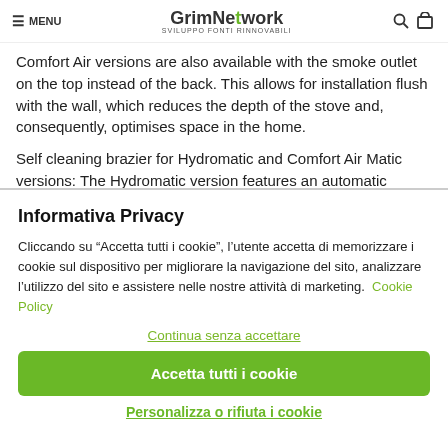MENU | GrimNetwork SVILUPPO FONTI RINNOVABILI
Comfort Air versions are also available with the smoke outlet on the top instead of the back. This allows for installation flush with the wall, which reduces the depth of the stove and, consequently, optimises space in the home.
Self cleaning brazier for Hydromatic and Comfort Air Matic versions: The Hydromatic version features an automatic
Informativa Privacy
Cliccando su “Accetta tutti i cookie”, l’utente accetta di memorizzare i cookie sul dispositivo per migliorare la navigazione del sito, analizzare l’utilizzo del sito e assistere nelle nostre attività di marketing.  Cookie Policy
Continua senza accettare
Accetta tutti i cookie
Personalizza o rifiuta i cookie